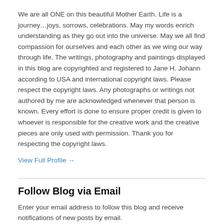We are all ONE on this beautiful Mother Earth. Life is a journey…joys, sorrows, celebrations. May my words enrich understanding as they go out into the universe. May we all find compassion for ourselves and each other as we wing our way through life. The writings, photography and paintings displayed in this blog are copyrighted and registered to Jane H. Johann according to USA and international copyright laws. Please respect the copyright laws. Any photographs or writings not authored by me are acknowledged whenever that person is known. Every effort is done to ensure proper credit is given to whoever is responsible for the creative work and the creative pieces are only used with permission. Thank you for respecting the copyright laws.
View Full Profile →
Follow Blog via Email
Enter your email address to follow this blog and receive notifications of new posts by email.